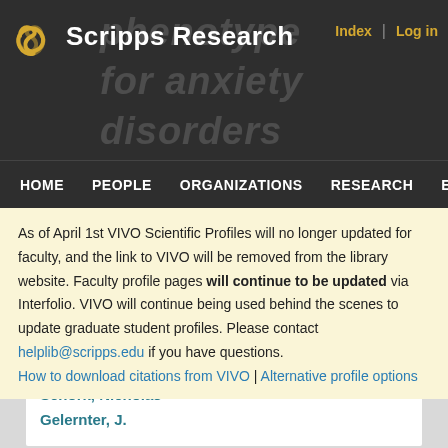Scripps Research | Index | Log in
phenotype for anxiety disorders
HOME  PEOPLE  ORGANIZATIONS  RESEARCH  EV
As of April 1st VIVO Scientific Profiles will no longer updated for faculty, and the link to VIVO will be removed from the library website. Faculty profile pages will continue to be updated via Interfolio. VIVO will continue being used behind the scenes to update graduate student profiles. Please contact helplib@scripps.edu if you have questions.
How to download citations from VIVO | Alternative profile options
Schork, Nicholas
Gelernter, J.